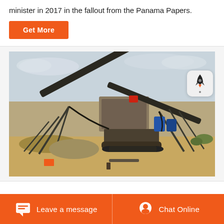minister in 2017 in the fallout from the Panama Papers.
Get More
[Figure (photo): Industrial mining equipment with conveyor belts and heavy machinery on a dirt field under an overcast sky.]
Leave a message   Chat Online